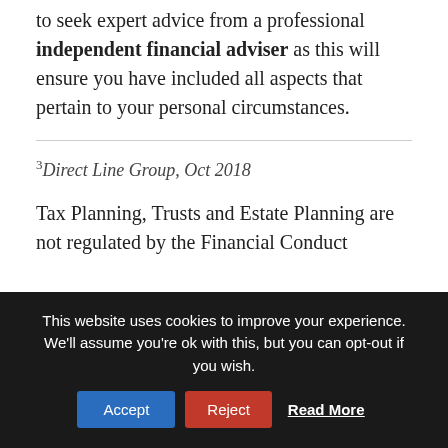to seek expert advice from a professional independent financial adviser as this will ensure you have included all aspects that pertain to your personal circumstances.
3Direct Line Group, Oct 2018
Tax Planning, Trusts and Estate Planning are not regulated by the Financial Conduct
This website uses cookies to improve your experience. We'll assume you're ok with this, but you can opt-out if you wish. Accept Reject Read More